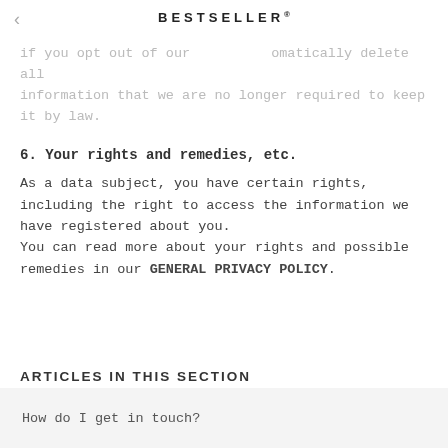BESTSELLER
if you opt out of our ïfomatically delete all information that we are no longer required to keep it by law.
6. Your rights and remedies, etc.
As a data subject, you have certain rights, including the right to access the information we have registered about you.
You can read more about your rights and possible remedies in our GENERAL PRIVACY POLICY.
ARTICLES IN THIS SECTION
How do I get in touch?